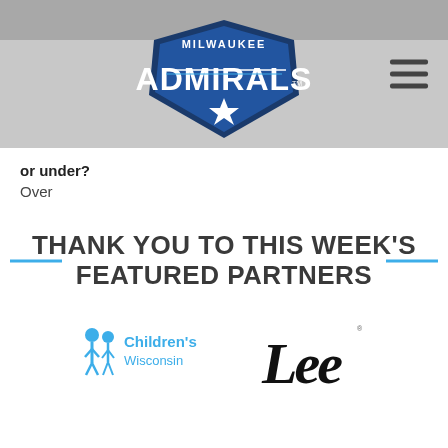[Figure (logo): Milwaukee Admirals logo with navigation hamburger menu on gray header background]
or under?
Over
THANK YOU TO THIS WEEK'S FEATURED PARTNERS
[Figure (logo): Children's Wisconsin logo (blue figures and text) on the left, Lee brand logo on the right]